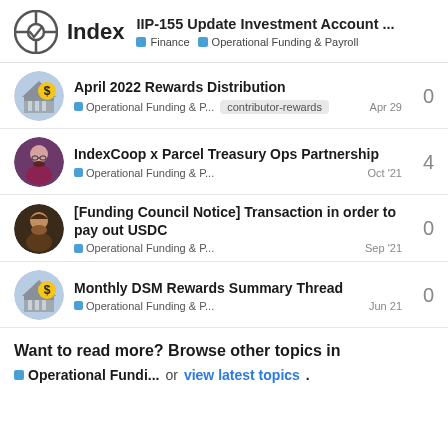Index — IIP-155 Update Investment Account ... Finance Operational Funding & Payroll
April 2022 Rewards Distribution — Operational Funding & P... contributor-rewards Apr 29 — 0
IndexCoop x Parcel Treasury Ops Partnership — Operational Funding & P... Oct '21 — 4
[Funding Council Notice] Transaction in order to pay out USDC — Operational Funding & P... Sep '21 — 0
Monthly DSM Rewards Summary Thread — Operational Funding & P... Jun 21 — 0
Want to read more? Browse other topics in Operational Fundi... or view latest topics.